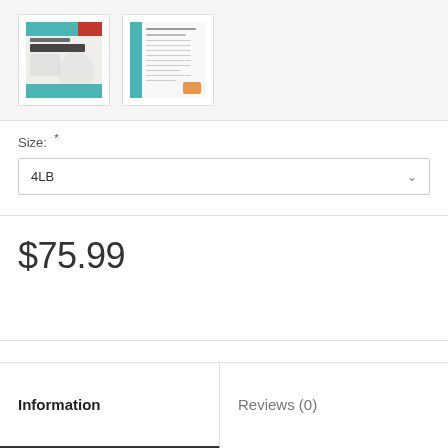[Figure (photo): Product thumbnail of The Honest Kitchen fish recipe dog food package, front view]
[Figure (photo): Product thumbnail of The Honest Kitchen fish recipe dog food package, back/side view showing nutrition label]
Size: *
4LB
$75.99
Information
Reviews (0)